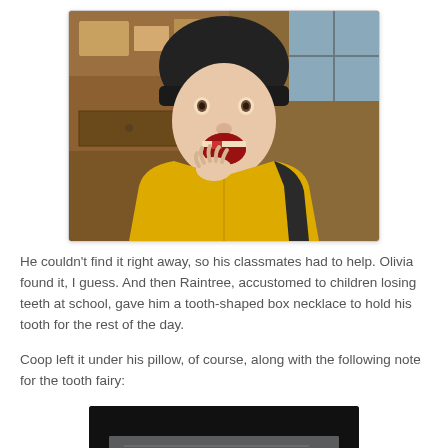[Figure (photo): Photo of a young child wearing a black beanie hat and yellow jacket, mouth wide open showing missing tooth, hand raised to mouth, indoor kitchen/living area background]
He couldn't find it right away, so his classmates had to help. Olivia found it, I guess.  And then Raintree, accustomed to children losing teeth at school, gave him a tooth-shaped box necklace to hold his tooth for the rest of the day.
Coop left it under his pillow, of course, along with the following note for the tooth fairy:
[Figure (photo): Partially visible photo of a handwritten note on white paper against a dark background, presumably the note left for the tooth fairy]